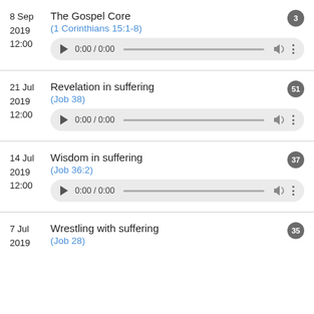8 Sep 2019 12:00 — The Gospel Core (1 Corinthians 15:1-8) — badge: 3
21 Jul 2019 12:00 — Revelation in suffering (Job 38) — badge: 51
14 Jul 2019 12:00 — Wisdom in suffering (Job 36:2) — badge: 37
7 Jul 2019 — Wrestling with suffering (Job 28) — badge: 35